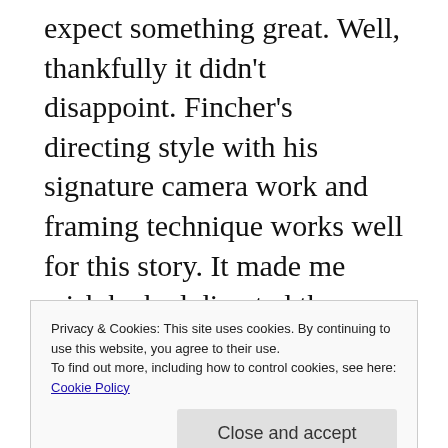expect something great. Well, thankfully it didn't disappoint. Fincher's directing style with his signature camera work and framing technique works well for this story. It made me wish he had directed the entire episodes though I reserve judgment until I see the entire first season. Kevin Spacey is perfectly cast Frank Underwood, a ruthless and ambitious politician (is there any other kind?) willing to use and betray anyone to get what
Privacy & Cookies: This site uses cookies. By continuing to use this website, you agree to their use.
To find out more, including how to control cookies, see here: Cookie Policy
Close and accept
character, you're repulsed and captivated by